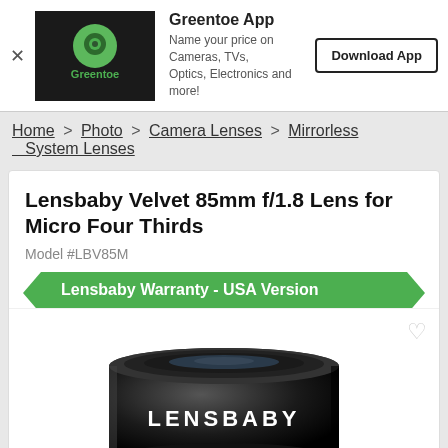[Figure (screenshot): Greentoe app banner with logo, app description and Download App button]
Home > Photo > Camera Lenses > Mirrorless System Lenses
Lensbaby Velvet 85mm f/1.8 Lens for Micro Four Thirds
Model #LBV85M
Lensbaby Warranty - USA Version
[Figure (photo): Photo of Lensbaby camera lens with LENSBABY text on barrel, black cylindrical lens]